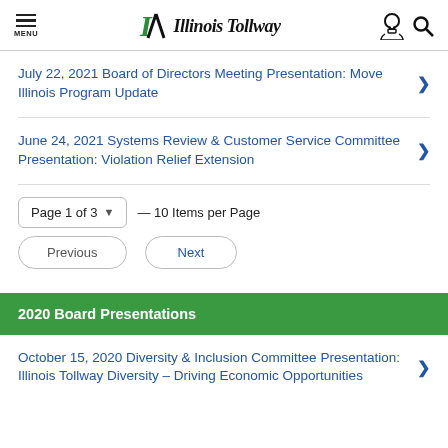Illinois Tollway — Menu | Search
July 22, 2021 Board of Directors Meeting Presentation: Move Illinois Program Update
June 24, 2021 Systems Review & Customer Service Committee Presentation: Violation Relief Extension
Page 1 of 3 — 10 Items per Page
Previous    Next
2020 Board Presentations
October 15, 2020 Diversity & Inclusion Committee Presentation: Illinois Tollway Diversity – Driving Economic Opportunities